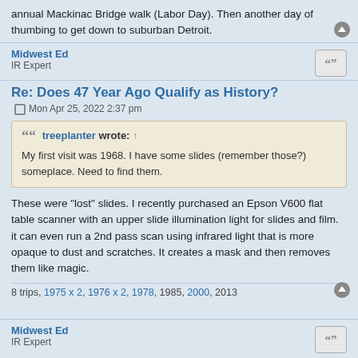annual Mackinac Bridge walk (Labor Day). Then another day of thumbing to get down to suburban Detroit.
Midwest Ed
IR Expert
Re: Does 47 Year Ago Qualify as History?
Mon Apr 25, 2022 2:37 pm
treeplanter wrote: ↑
My first visit was 1968. I have some slides (remember those?) someplace. Need to find them.
These were "lost" slides. I recently purchased an Epson V600 flat table scanner with an upper slide illumination light for slides and film. it can even run a 2nd pass scan using infrared light that is more opaque to dust and scratches. It creates a mask and then removes them like magic.
8 trips, 1975 x 2, 1976 x 2, 1978, 1985, 2000, 2013
Midwest Ed
IR Expert